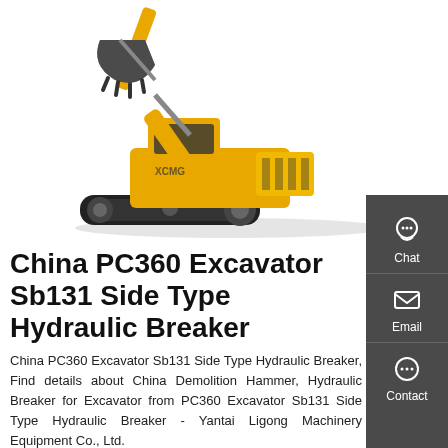[Figure (photo): Large yellow hydraulic excavator (XCMG brand) shown in side-profile with boom and bucket raised, on crawler tracks, white background.]
China PC360 Excavator Sb131 Side Type Hydraulic Breaker
China PC360 Excavator Sb131 Side Type Hydraulic Breaker, Find details about China Demolition Hammer, Hydraulic Breaker for Excavator from PC360 Excavator Sb131 Side Type Hydraulic Breaker - Yantai Ligong Machinery Equipment Co., Ltd.